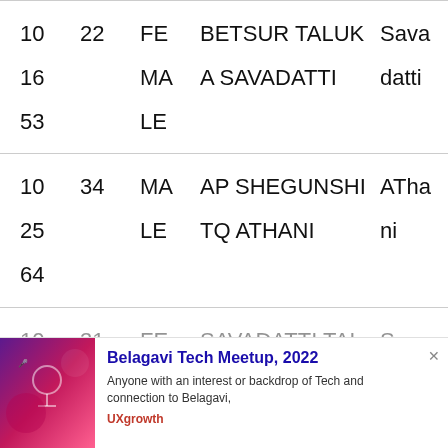| 10 | 22 | FE | BETSUR TALUK | Sava |
| 16 |  | MA | A SAVADATTI | datti |
| 53 |  | LE |  |  |
| 10 | 34 | MA | AP SHEGUNSHI | ATha |
| 25 |  | LE | TQ ATHANI | ni |
| 64 |  |  |  |  |
| 10 | 31 | FE | SAVADATTI TAL | S |
[Figure (infographic): Belagavi Tech Meetup 2022 advertisement banner with purple-pink gradient image on the left, bold blue title, description text, and UXgrowth source link]